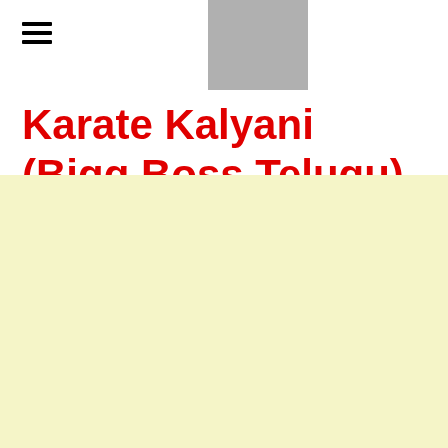[Figure (other): Gray rectangle placeholder image at top center of page]
Karate Kalyani (Bigg Boss Telugu) Biography: